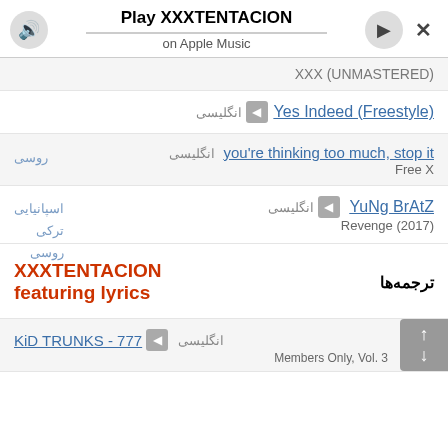Play XXXTENTACION on Apple Music
XXX (UNMASTERED)
Yes Indeed (Freestyle) انگلیسی
you're thinking too much, stop it انگلیسی | Free X | روسی
YuNg BrAtZ انگلیسی | Revenge (2017) | اسپانیایی، ترکی، روسی
XXXTENTACION featuring lyrics ترجمه‌ها
KiD TRUNKS - 777 انگلیسی | Members Only, Vol. 3